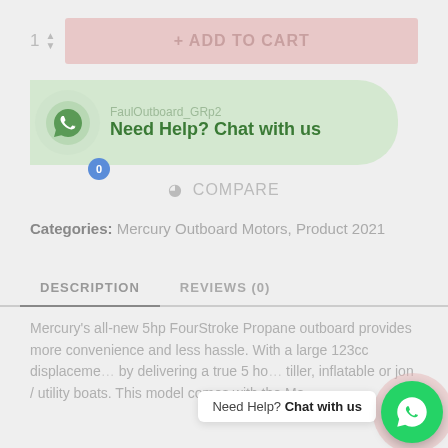[Figure (screenshot): Add to cart button with quantity selector showing '1' and spin arrows, and a pink 'ADD TO CART' button]
[Figure (screenshot): WhatsApp chat banner in green showing 'FaulOutboard_GRp2' and 'Need Help? Chat with us' with phone icon and blue notification badge]
COMPARE
Categories: Mercury Outboard Motors, Product 2021
DESCRIPTION
REVIEWS (0)
Mercury's all-new 5hp FourStroke Propane outboard provides more convenience and less hassle. With a large 123cc displaceme... by delivering a true 5 ho... tiller, inflatable or jon / utility boats. This model comes with the Mo...
[Figure (screenshot): WhatsApp floating chat button in green circle at bottom right with 'Need Help? Chat with us' tooltip]